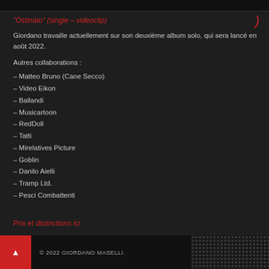"Ostinato" (single – videoclip)
Giordano travaille actuellement sur son deuxième album solo, qui sera lancé en août 2022.
Autres collaborations :
– Matteo Bruno (Cane Secco)
– Video Eikon
– Ballandi
– Musicartoon
– RedDoll
– Tatti
– Mirelatives Picture
– Goblin
– Danilo Aielli
– Tramp Ltd.
– Pesci Combattenti
Prix et distinctions ici
© 2022 GIORDANO MASELLI.